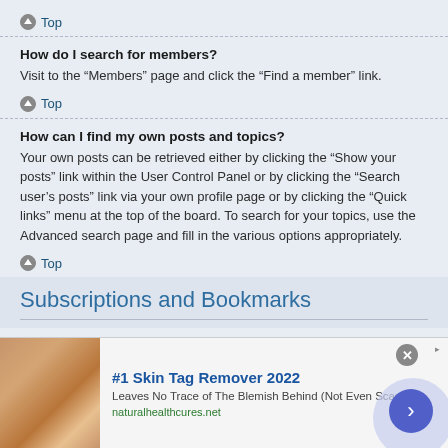Top
How do I search for members?
Visit to the “Members” page and click the “Find a member” link.
Top
How can I find my own posts and topics?
Your own posts can be retrieved either by clicking the “Show your posts” link within the User Control Panel or by clicking the “Search user’s posts” link via your own profile page or by clicking the “Quick links” menu at the top of the board. To search for your topics, use the Advanced search page and fill in the various options appropriately.
Top
Subscriptions and Bookmarks
What is the difference between bookmarking and subscribing?
In phpBB 3.0, bookmarking topics worked much like bookmarking in a web
[Figure (other): Advertisement overlay: #1 Skin Tag Remover 2022 - Leaves No Trace of The Blemish Behind (Not Even Scarring) - naturalhealthcures.net]